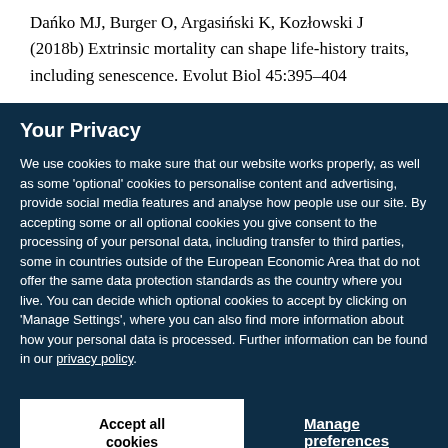Dańko MJ, Burger O, Argasiński K, Kozłowski J (2018b) Extrinsic mortality can shape life-history traits, including senescence. Evolut Biol 45:395–404
Your Privacy
We use cookies to make sure that our website works properly, as well as some 'optional' cookies to personalise content and advertising, provide social media features and analyse how people use our site. By accepting some or all optional cookies you give consent to the processing of your personal data, including transfer to third parties, some in countries outside of the European Economic Area that do not offer the same data protection standards as the country where you live. You can decide which optional cookies to accept by clicking on 'Manage Settings', where you can also find more information about how your personal data is processed. Further information can be found in our privacy policy.
Accept all cookies
Manage preferences